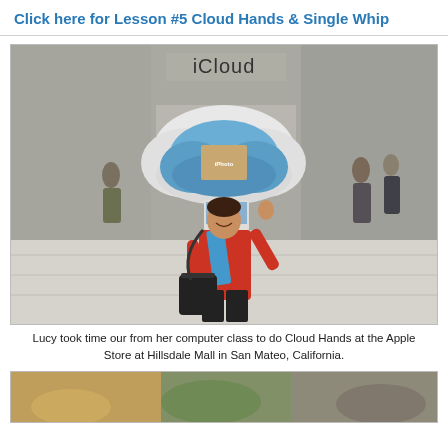Click here for Lesson #5 Cloud Hands & Single Whip
[Figure (photo): Woman in red top and blue scarf standing in front of Apple Store iCloud display at Hillsdale Mall, waving and smiling, with a laptop bag over her shoulder.]
Lucy took time our from her computer class to do Cloud Hands at the Apple Store at Hillsdale Mall in San Mateo, California.
[Figure (photo): Partial view of another photo at the bottom of the page, showing a colorful outdoor scene.]